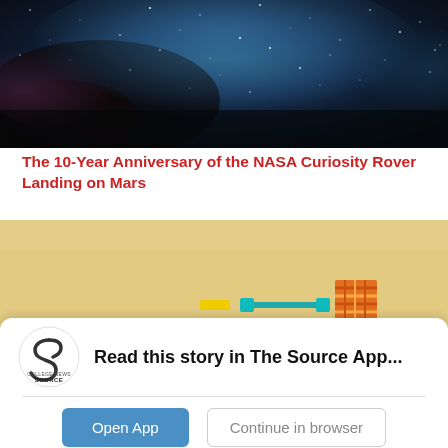[Figure (photo): Night sky with Milky Way galaxy — dark background with blue and purple nebular clouds and stars]
The 10-Year Anniversary of the NASA Curiosity Rover Landing on Mars
[Figure (screenshot): Mobile game screenshot with sandy/tan background and colorful game elements including orange-striped box and green platform]
Read this story in The Source App...
Open App
Continue in browser